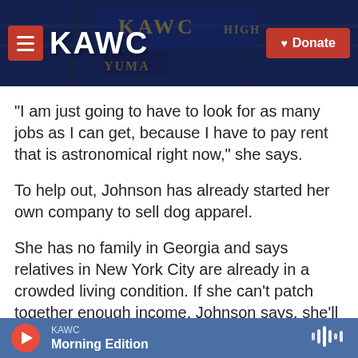[Figure (screenshot): KAWC public radio website header banner with logo, hamburger menu button, and red Donate button. Background shows a blue-toned photo of a large outdoor sign structure.]
"I am just going to have to look for as many jobs as I can get, because I have to pay rent that is astronomical right now," she says.
To help out, Johnson has already started her own company to sell dog apparel.
She has no family in Georgia and says relatives in New York City are already in a crowded living condition. If she can't patch together enough income, Johnson says, she'll probably look for someone else who's also struggling and needs a
KAWC  Morning Edition